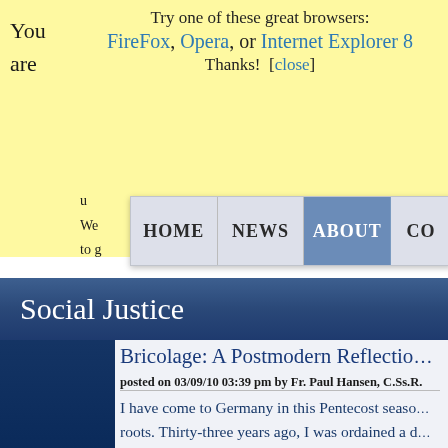You are
Try one of these great browsers: FireFox, Opera, or Internet Explorer 8
Thanks! [close]
u...
We...
to g...
[Figure (screenshot): Navigation bar with Home, News, About (active), Co... tabs]
Social Justice
Bricolage: A Postmodern Reflectio...
posted on 03/09/10 03:39 pm by Fr. Paul Hansen, C.Ss.R.
I have come to Germany in this Pentecost seaso... roots. Thirty-three years ago, I was ordained a d... who as a young priest, preached against Nationa... removing his vestments after Mass.